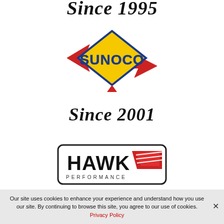Since 199x
[Figure (logo): Sunoco logo — yellow diamond shape with red arrow/swooshes and blue text reading SUNOCO]
Since 2001
[Figure (logo): Hawk Performance logo — rounded rectangle border, bold black text HAWK with red wing graphic, and PERFORMANCE text below]
Since 2003
Our site uses cookies to enhance your experience and understand how you use our site. By continuing to browse this site, you agree to our use of cookies. Privacy Policy